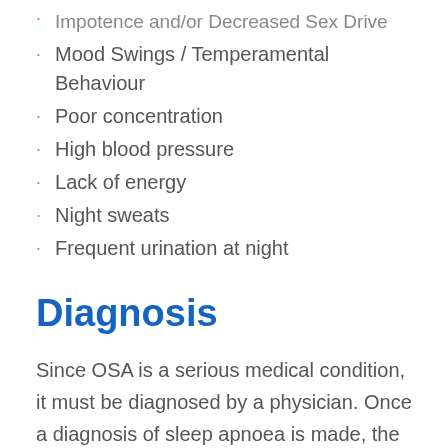Impotence and/or Decreased Sex Drive
Mood Swings / Temperamental Behaviour
Poor concentration
High blood pressure
Lack of energy
Night sweats
Frequent urination at night
Diagnosis
Since OSA is a serious medical condition, it must be diagnosed by a physician. Once a diagnosis of sleep apnoea is made, the severity of the dysfunction can be classified and treatment options will be given.